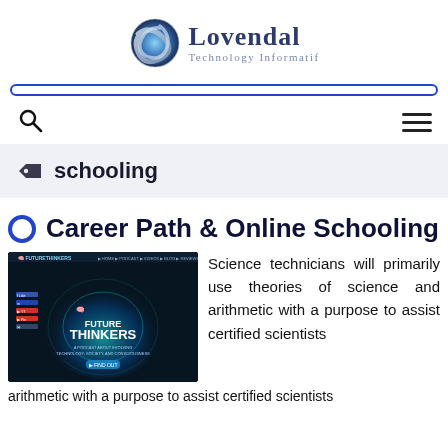[Figure (logo): Lovendal Technology Informatif logo with swirling silver-blue globe icon and text]
Lovendal Technology Informatif
schooling
Career Path & Online Schooling
[Figure (screenshot): Screenshot of Future Thinkers website with dark blue glowing brain/sphere graphic and navigation menu]
Science technicians will primarily use theories of science and arithmetic with a purpose to assist certified scientists